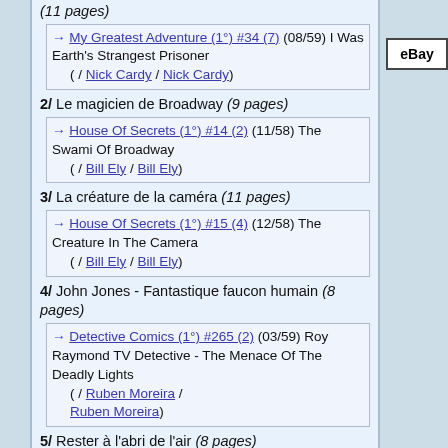(11 pages)
→ My Greatest Adventure (1°) #34 (7) (08/59) I Was Earth's Strangest Prisoner
( / Nick Cardy / Nick Cardy)
2/ Le magicien de Broadway (9 pages)
→ House Of Secrets (1°) #14 (2) (11/58) The Swami Of Broadway
( / Bill Ely / Bill Ely)
3/ La créature de la caméra (11 pages)
→ House Of Secrets (1°) #15 (4) (12/58) The Creature In The Camera
( / Bill Ely / Bill Ely)
4/ John Jones - Fantastique faucon humain (8 pages)
→ Detective Comics (1°) #265 (2) (03/59) Roy Raymond TV Detective - The Menace Of The Deadly Lights
( / Ruben Moreira / Ruben Moreira)
5/ Rester à l'abri de l'air (8 pages)
→ House Of Secrets (1°) #15 (3) (12/58) Stay Away From Air!
( / Lou Cameron / Lou Cameron)
6/ Tommy Tomorrow - Boy planétaire (9 pages)